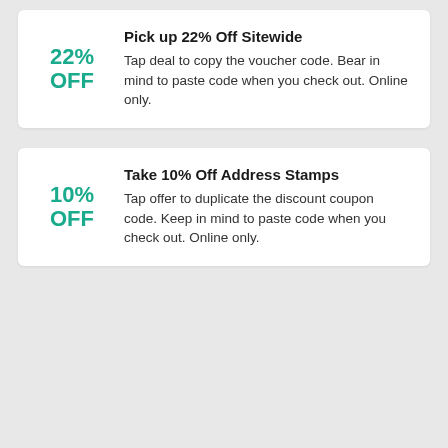Pick up 22% Off Sitewide
Tap deal to copy the voucher code. Bear in mind to paste code when you check out. Online only.
Take 10% Off Address Stamps
Tap offer to duplicate the discount coupon code. Keep in mind to paste code when you check out. Online only.